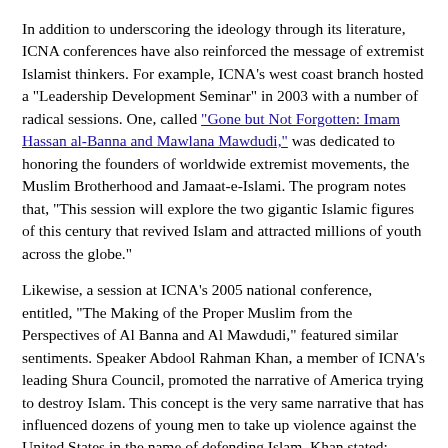In addition to underscoring the ideology through its literature, ICNA conferences have also reinforced the message of extremist Islamist thinkers. For example, ICNA's west coast branch hosted a "Leadership Development Seminar" in 2003 with a number of radical sessions. One, called "Gone but Not Forgotten: Imam Hassan al-Banna and Mawlana Mawdudi," was dedicated to honoring the founders of worldwide extremist movements, the Muslim Brotherhood and Jamaat-e-Islami. The program notes that, "This session will explore the two gigantic Islamic figures of this century that revived Islam and attracted millions of youth across the globe."
Likewise, a session at ICNA's 2005 national conference, entitled, "The Making of the Proper Muslim from the Perspectives of Al Banna and Al Mawdudi," featured similar sentiments. Speaker Abdool Rahman Khan, a member of ICNA's leading Shura Council, promoted the narrative of America trying to destroy Islam. This concept is the very same narrative that has influenced dozens of young men to take up violence against the United States in the name of defending Islam. Khan stated:
"The Western powers had influenced the feeble-minded Muslims all over the world and used their literary rhetoric to demean and to demolish anything and all legitimacy of Islam, something that is still